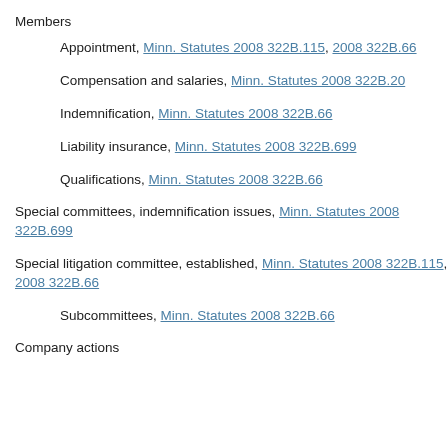Members
Appointment, Minn. Statutes 2008 322B.115, 2008 322B.66
Compensation and salaries, Minn. Statutes 2008 322B.20
Indemnification, Minn. Statutes 2008 322B.66
Liability insurance, Minn. Statutes 2008 322B.699
Qualifications, Minn. Statutes 2008 322B.66
Special committees, indemnification issues, Minn. Statutes 2008 322B.699
Special litigation committee, established, Minn. Statutes 2008 322B.115, 2008 322B.66
Subcommittees, Minn. Statutes 2008 322B.66
Company actions